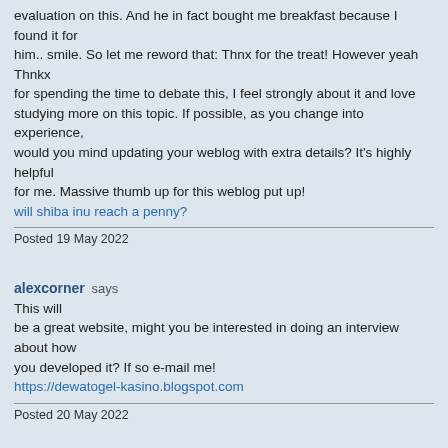evaluation on this. And he in fact bought me breakfast because I found it for him.. smile. So let me reword that: Thnx for the treat! However yeah Thnkx for spending the time to debate this, I feel strongly about it and love studying more on this topic. If possible, as you change into experience, would you mind updating your weblog with extra details? It's highly helpful for me. Massive thumb up for this weblog put up!
will shiba inu reach a penny?
Posted 19 May 2022
alexcorner says
This will be a great website, might you be interested in doing an interview about how you developed it? If so e-mail me!
https://dewatogel-kasino.blogspot.com
Posted 20 May 2022